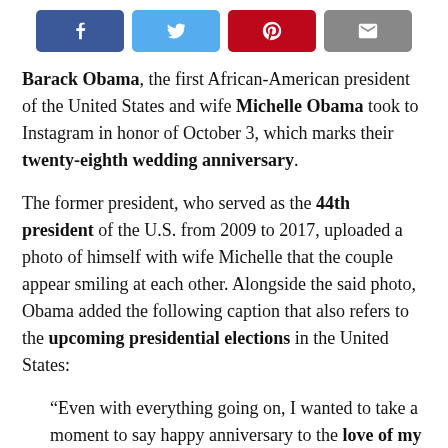[Figure (other): Social share buttons: Facebook (blue), Twitter (light blue), Pinterest (red), Email (gray)]
Barack Obama, the first African-American president of the United States and wife Michelle Obama took to Instagram in honor of October 3, which marks their twenty-eighth wedding anniversary.
The former president, who served as the 44th president of the U.S. from 2009 to 2017, uploaded a photo of himself with wife Michelle that the couple appear smiling at each other. Alongside the said photo, Obama added the following caption that also refers to the upcoming presidential elections in the United States:
“Even with everything going on, I wanted to take a moment to say happy anniversary to the love of my life. Every day with @MichelleObama makes me a